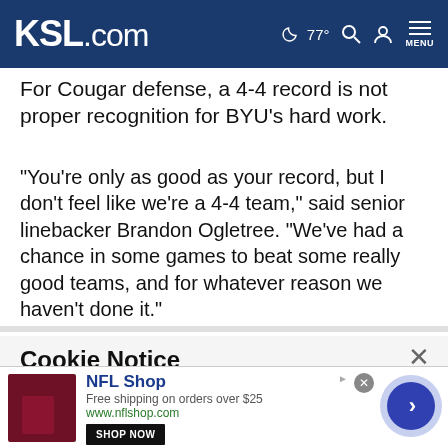KSL.com  77°  MENU
For Cougar defense, a 4-4 record is not proper recognition for BYU's hard work.
"You're only as good as your record, but I don't feel like we're a 4-4 team," said senior linebacker Brandon Ogletree. "We've had a chance in some games to beat some really good teams, and for whatever reason we haven't done it."
Cookie Notice
We use cookies to improve your experience, analyze site traffic, and to personalize content and ads. By continuing to use our site, you consent to our use of cookies. Please visit our Terms of Use and Privacy Policy for more information.
[Figure (screenshot): NFL Shop advertisement banner with logo, free shipping offer, shop now button, and circular arrow button]